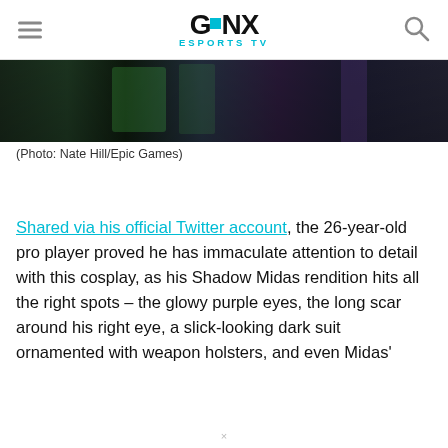GINX ESPORTS TV
[Figure (photo): Dark gaming/esports themed photo strip with green and purple lighting accents, showing partial view of a cosplay or gaming setup]
(Photo: Nate Hill/Epic Games)
Shared via his official Twitter account, the 26-year-old pro player proved he has immaculate attention to detail with this cosplay, as his Shadow Midas rendition hits all the right spots – the glowy purple eyes, the long scar around his right eye, a slick-looking dark suit ornamented with weapon holsters, and even Midas'